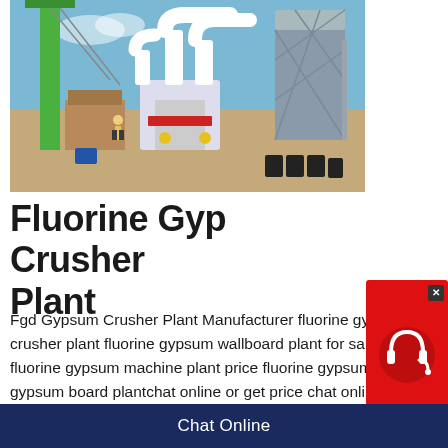[Figure (photo): Industrial gypsum crusher plant with white pipes, machinery, a green crane, and large gray silos on a dirt construction site under blue sky.]
Fluorine Gyp Crusher Plant
Fgd Gypsum Crusher Plant Manufacturer fluorine gyp crusher plant fluorine gypsum wallboard plant for sale fluorine gypsum machine plant price fluorine gypsum plant gypsum board plantchat online or get price chat online gypsum manufacturers suppliers exporters in india how to
[Figure (screenshot): Red and dark chat widget with headset icon and Chat Now label in a pentagon shape.]
Chat Online